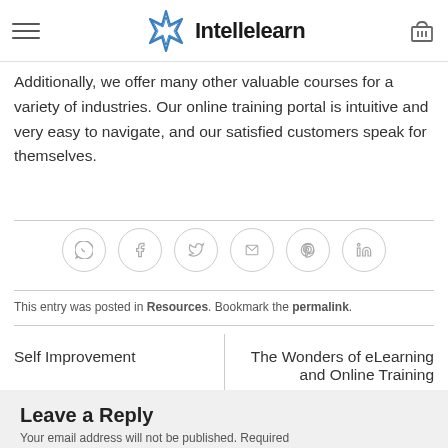Intellelearn
captured through Yotpo. If you want to get started, just click here to order. Contact us for bulk purchases or if you have any questions.
Additionally, we offer many other valuable courses for a variety of industries. Our online training portal is intuitive and very easy to navigate, and our satisfied customers speak for themselves.
[Figure (infographic): Social share icons row: WhatsApp, Facebook, Twitter, Email, Pinterest, LinkedIn — each in a light grey circle border]
This entry was posted in Resources. Bookmark the permalink.
Self Improvement
The Wonders of eLearning and Online Training
Leave a Reply
Your email address will not be published. Required